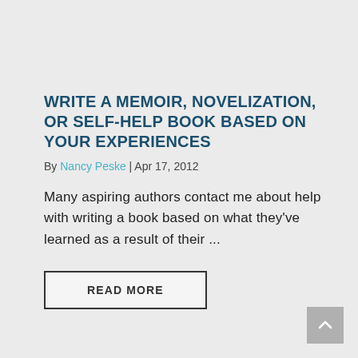WRITE A MEMOIR, NOVELIZATION, OR SELF-HELP BOOK BASED ON YOUR EXPERIENCES
By Nancy Peske | Apr 17, 2012
Many aspiring authors contact me about help with writing a book based on what they've learned as a result of their …
READ MORE